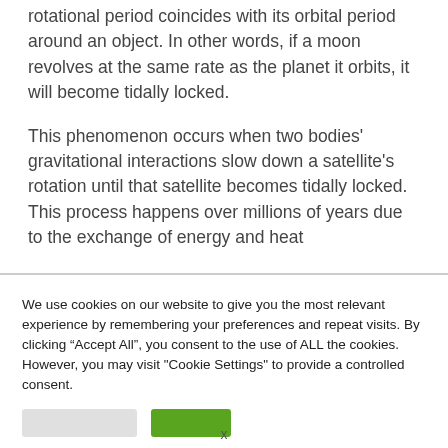rotational period coincides with its orbital period around an object. In other words, if a moon revolves at the same rate as the planet it orbits, it will become tidally locked.
This phenomenon occurs when two bodies' gravitational interactions slow down a satellite's rotation until that satellite becomes tidally locked. This process happens over millions of years due to the exchange of energy and heat
We use cookies on our website to give you the most relevant experience by remembering your preferences and repeat visits. By clicking “Accept All”, you consent to the use of ALL the cookies. However, you may visit "Cookie Settings" to provide a controlled consent.
x